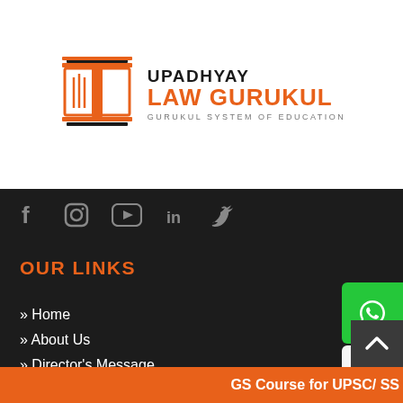[Figure (logo): Upadhyay Law Gurukul logo with open book and pillar icon in orange and black, text reads UPADHYAY LAW GURUKUL GURUKUL SYSTEM OF EDUCATION]
[Figure (infographic): Social media icons bar: Facebook, Instagram, YouTube, LinkedIn, Twitter on dark background]
OUR LINKS
» Home
» About Us
» Director's Message
» Why Choose Us
» Contact Us
GS Course for UPSC/ SS